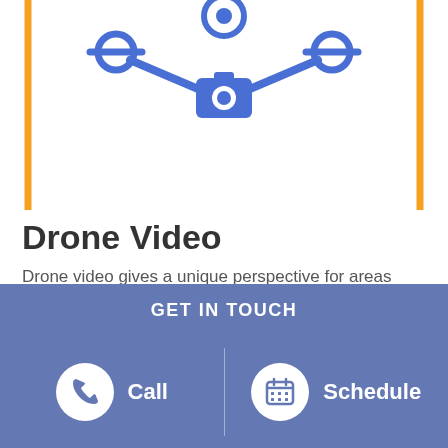[Figure (illustration): Drone icon with camera, drawn in blue on white background inside an orange rounded-rectangle border. The top portion of the illustration is visible — shows drone arms/propellers and a camera symbol.]
Drone Video
Drone video gives a unique perspective for areas such as landscapes, buildings, broadcasting of live events, or an area that is difficult to access. It is an ever-
GET IN TOUCH
Call
Schedule